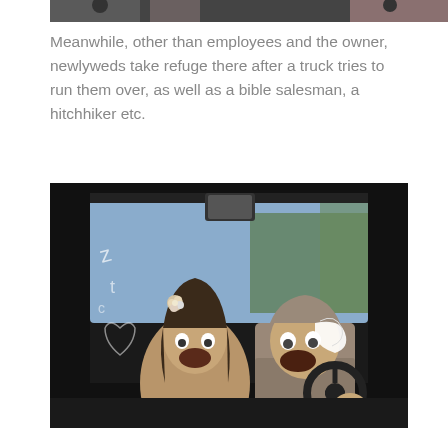[Figure (photo): Top of a photo visible at the top of the page, appears to be cropped, dark tones]
Meanwhile, other than employees and the owner, newlyweds take refuge there after a truck tries to run them over, as well as a bible salesman, a hitchhiker etc.
[Figure (photo): Photo of a young girl with flowers in her hair and an older man in a suit, both screaming, sitting in a car as seen through the windshield. The car window has writing on it suggesting they are newlyweds.]